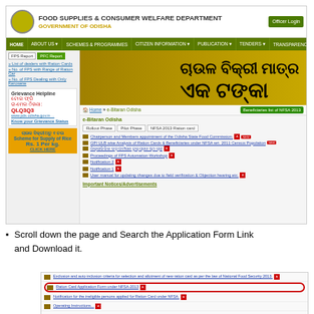[Figure (screenshot): Screenshot of Food Supplies & Consumer Welfare Department, Government of Odisha website showing e-Bitaran Odisha page with navigation menu, sidebar with FPS Report and Grievance Helpline, banner image, and list of documents under NFSA 2013 Ration card tab]
Scroll down the page and Search the Application Form Link and Download it.
[Figure (screenshot): Partial screenshot showing Ration Card Application Form under NFSA-2013 highlighted with red oval, along with other links including exclusion/inclusion criteria and notification items]